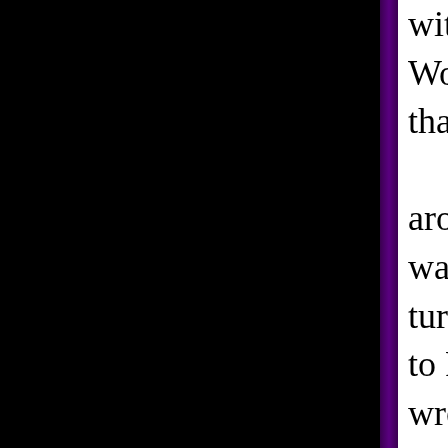without shirts, winter or summer. Word was the had three sti- that bear loose on anyone wh- Fiercest of all, the volca- around Wakulla Springs, ma- was this volcano. It wasn't a- tures of Aetna or Karkatoa. T- to Florida. A fellow from Lip- wrote a whole article about it Not that he saw it up clos- you saw a line of smoke goir- times white as a cowbird, sor- would glow a kind of gray south windows of the Capito- five miles away. In the 185 guests to take their glasses o- and look at the ashy spray t- remind everyone that, of co- in the shadow of Vesuvius wh- Cabeza de Vaca had seen was crashing around directio- Tucker had seen the strange,